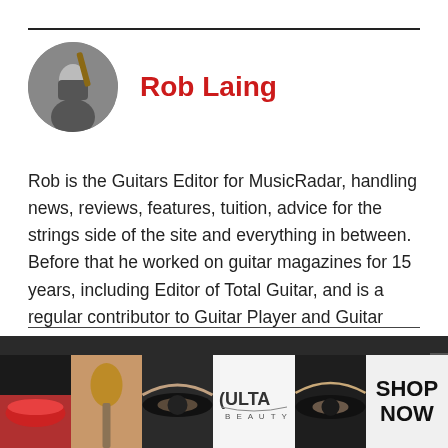Rob Laing
[Figure (photo): Circular avatar photo of Rob Laing holding a guitar neck, wearing dark clothing, against a grey background]
Rob is the Guitars Editor for MusicRadar, handling news, reviews, features, tuition, advice for the strings side of the site and everything in between. Before that he worked on guitar magazines for 15 years, including Editor of Total Guitar, and is a regular contributor to Guitar Player and Guitar World.
[Figure (photo): Ulta Beauty advertisement banner with close-up photos of lips, makeup brush, eyes, Ulta Beauty logo, and SHOP NOW call to action]